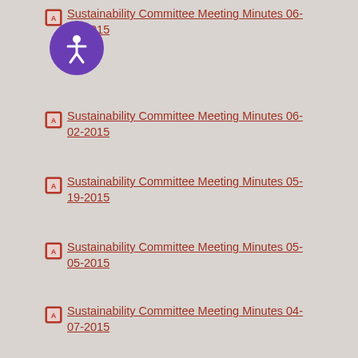[Figure (logo): Purple circle accessibility icon with a white person figure inside]
Sustainability Committee Meeting Minutes 06-16-2015
Sustainability Committee Meeting Minutes 06-02-2015
Sustainability Committee Meeting Minutes 05-19-2015
Sustainability Committee Meeting Minutes 05-05-2015
Sustainability Committee Meeting Minutes 04-07-2015
Sustainability Committee Meeting Minutes 03-17-2015
Sustainability Committee Meeting Minutes 03-03-2015
Sustainability Committee Meeting Minutes 01-20-2015